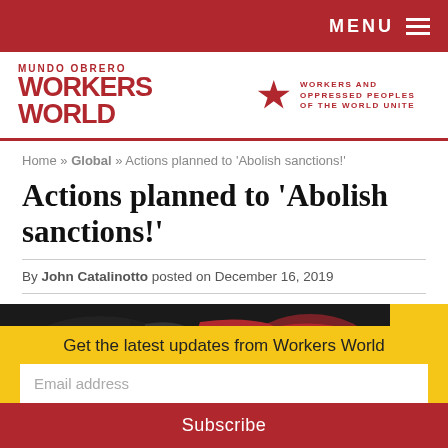MENU
[Figure (logo): Workers World newspaper logo with star and tagline: WORKERS AND OPPRESSED PEOPLES OF THE WORLD UNITE]
Home » Global » Actions planned to 'Abolish sanctions!'
Actions planned to 'Abolish sanctions!'
By John Catalinotto posted on December 16, 2019
[Figure (photo): Image showing text SANCTIONS KILL with a world map highlighting sanctioned countries in red]
Get the latest updates from Workers World
Email address
Subscribe